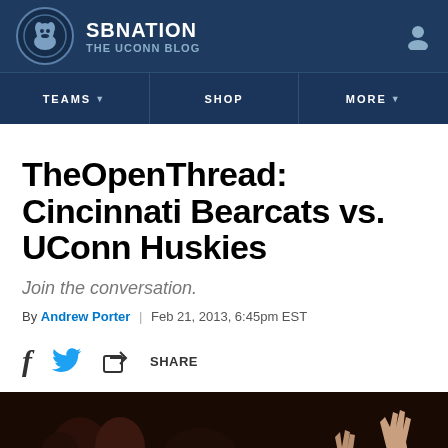SB NATION — THE UCONN BLOG
TheOpenThread: Cincinnati Bearcats vs. UConn Huskies
Join the conversation.
By Andrew Porter | Feb 21, 2013, 6:45pm EST
[Figure (screenshot): Social share bar with Facebook, Twitter, and Share icons]
[Figure (photo): Bottom partial photo of basketball players/crowd]